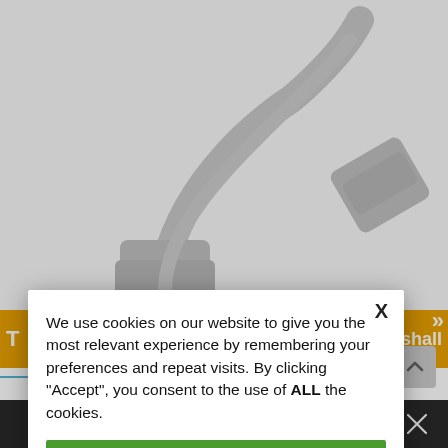[Figure (screenshot): Background showing a white USB/connector cable on a white background, with an orange promotional banner below it showing 'NO orders shall' text and 'Now Shipping' badge, a blue link fragment 'ter', and a dark bottom browser toolbar with navigation icons.]
X
We use cookies on our website to give you the most relevant experience by remembering your preferences and repeat visits. By clicking “Accept”, you consent to the use of ALL the cookies.
Accept
Cookie Settings
Reject
Learn More